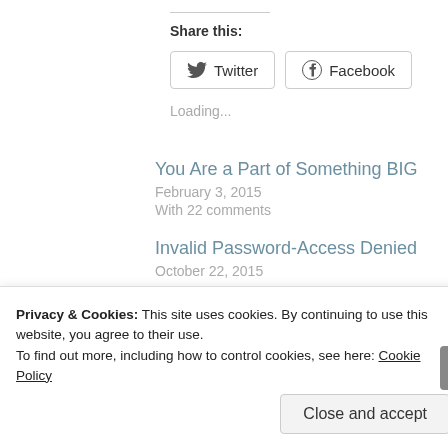Share this:
Twitter  Facebook
Loading...
You Are a Part of Something BIG
February 3, 2015
With 22 comments
Invalid Password-Access Denied
October 22, 2015
Privacy & Cookies: This site uses cookies. By continuing to use this website, you agree to their use.
To find out more, including how to control cookies, see here: Cookie Policy
Close and accept